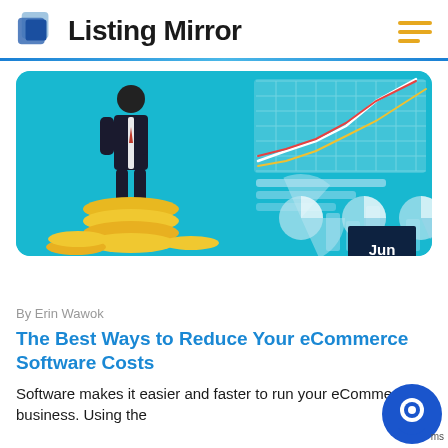Listing Mirror
[Figure (illustration): Illustration of a businessman in a suit standing on a stack of gold coins, with a teal/blue background showing line charts trending upward and three pie charts below.]
By Erin Wawok
Jun 02
The Best Ways to Reduce Your eCommerce Software Costs
Software makes it easier and faster to run your eCommerce business. Using the